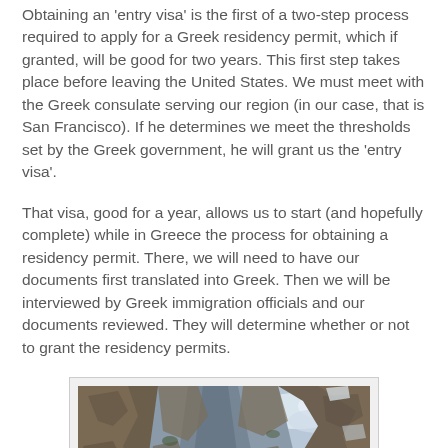Obtaining an 'entry visa' is the first of a two-step process required to apply for a Greek residency permit, which if granted, will be good for two years. This first step takes place before leaving the United States. We must meet with the Greek consulate serving our region (in our case, that is San Francisco). If he determines we meet the thresholds set by the Greek government, he will grant us the 'entry visa'.
That visa, good for a year, allows us to start (and hopefully complete) while in Greece the process for obtaining a residency permit. There, we will need to have our documents first translated into Greek. Then we will be interviewed by Greek immigration officials and our documents reviewed. They will determine whether or not to grant the residency permits.
[Figure (photo): Photo of a rocky cliff or mountain face with a narrow canyon/gorge, partly cloudy sky visible in the background.]